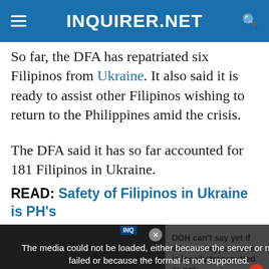INQUIRER.NET
So far, the DFA has repatriated six Filipinos from Ukraine. It also said it is ready to assist other Filipinos wishing to return to the Philippines amid the crisis.
The DFA said it has so far accounted for 181 Filipinos in Ukraine.
READ: Safety of Filipinos in Ukraine is PH's
[Figure (screenshot): Video player showing media error overlay: 'The media could not be loaded, either because the server or network failed or because the format is not supported.' with a news thumbnail about DOH monkeypox case. Side panel reads: DOH can't say yet if 4th monkeypox case is locally transmitted or not. Chat button with badge 14 visible.]